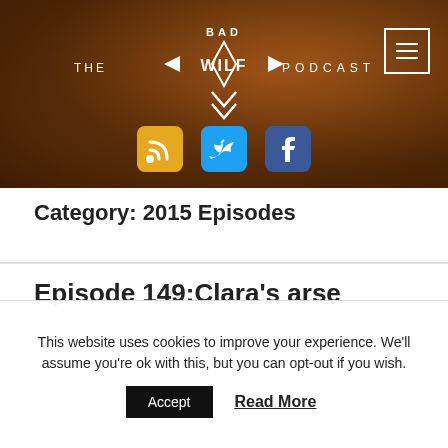[Figure (logo): The Bad Wilf Podcast logo on a dark brown bokeh background, with RSS, Twitter, and Facebook social icons below]
Category: 2015 Episodes
Episode 149:Clara's arse
This website uses cookies to improve your experience. We'll assume you're ok with this, but you can opt-out if you wish.
Accept   Read More